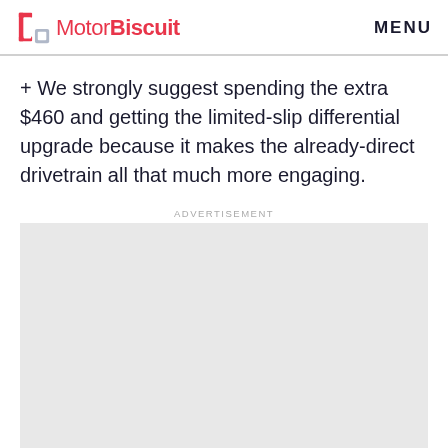MotorBiscuit   MENU
+ We strongly suggest spending the extra $460 and getting the limited-slip differential upgrade because it makes the already-direct drivetrain all that much more engaging.
[Figure (other): Advertisement placeholder box (grey rectangle)]